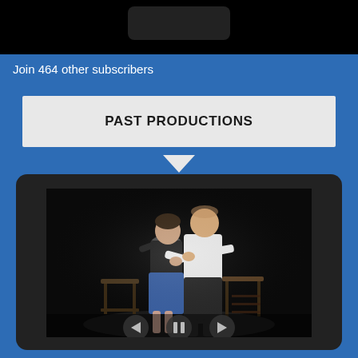[Figure (screenshot): Top portion of a website screenshot showing a dark video/image area at the top on a blue background]
Join 464 other subscribers
PAST PRODUCTIONS
[Figure (photo): A tablet device showing a theater production photo: two people (a woman in a dark top and blue skirt, a man in a white shirt and dark pants) appear to be in an intimate scene on a dark stage with chairs/stools visible in the background. Navigation controls (back, pause, forward) appear at the bottom of the image.]